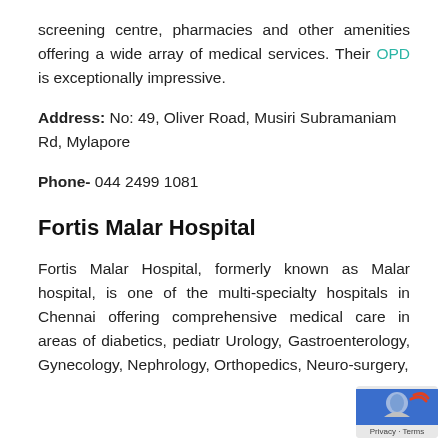screening centre, pharmacies and other amenities offering a wide array of medical services. Their OPD is exceptionally impressive.
Address: No: 49, Oliver Road, Musiri Subramaniam Rd, Mylapore
Phone- 044 2499 1081
Fortis Malar Hospital
Fortis Malar Hospital, formerly known as Malar hospital, is one of the multi-specialty hospitals in Chennai offering comprehensive medical care in areas of diabetics, pediatr Urology, Gastroenterology, Gynecology, Nephrology, Orthopedics, Neuro-surgery,